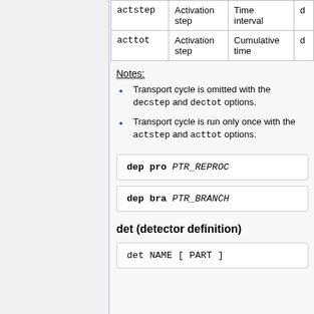|  |  |  |  |
| --- | --- | --- | --- |
| actstep | Activation step | Time interval | d |
| acttot | Activation step | Cumulative time | d |
Notes:
Transport cycle is omitted with the decstep and dectot options.
Transport cycle is run only once with the actstep and acttot options.
det (detector definition)